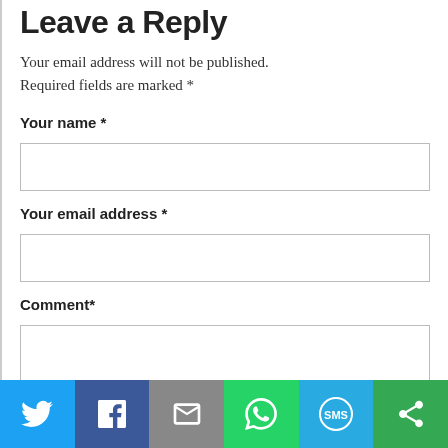Leave a Reply
Your email address will not be published. Required fields are marked *
Your name *
Your email address *
Comment*